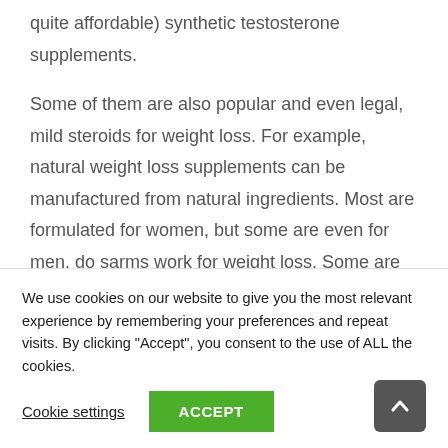quite affordable) synthetic testosterone supplements.
Some of them are also popular and even legal, mild steroids for weight loss. For example, natural weight loss supplements can be manufactured from natural ingredients. Most are formulated for women, but some are even for men, do sarms work for weight loss. Some are only made for men, most are also used by women and some are even for men and women.
They are simply all about making some natural…
We use cookies on our website to give you the most relevant experience by remembering your preferences and repeat visits. By clicking "Accept", you consent to the use of ALL the cookies.